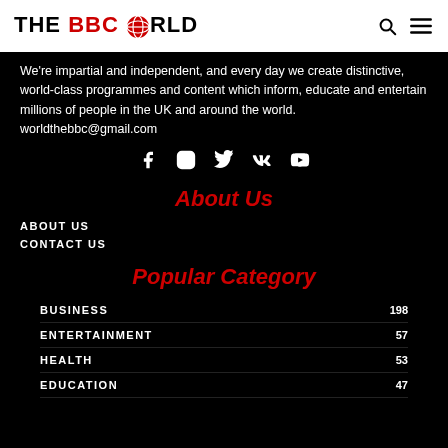THE BBC WORLD
We’re impartial and independent, and every day we create distinctive, world-class programmes and content which inform, educate and entertain millions of people in the UK and around the world. worldthebbc@gmail.com
[Figure (other): Social media icons: Facebook, Instagram, Twitter, VK, YouTube]
About Us
ABOUT US
CONTACT US
Popular Category
BUSINESS 198
ENTERTAINMENT 57
HEALTH 53
EDUCATION 47